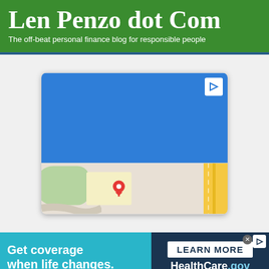Len Penzo dot Com
The off-beat personal finance blog for responsible people
[Figure (map): An advertisement unit containing a blue rectangular top section with an ad icon in the upper right, and a street map section below showing roads, a green area, and a red location pin marker.]
[Figure (infographic): Healthcare.gov advertisement banner at the bottom. Left side teal background with white bold text: 'Get coverage when life changes.' Right side dark blue background with white 'LEARN MORE' button and 'HealthCare.gov' branding in white and light blue text.]